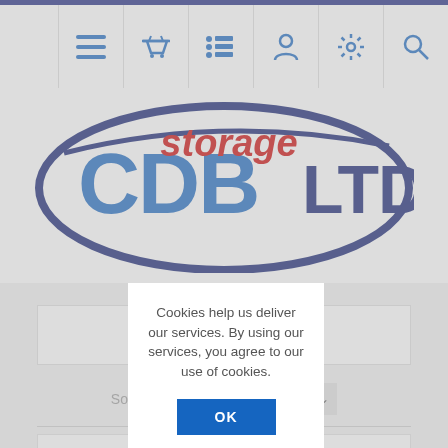[Figure (screenshot): Website navigation bar with icons: hamburger menu, basket, list/filter, person, settings gear, search magnifier]
[Figure (logo): CDB LTD Storage company logo - dark navy oval with bold blue CDB LTD text and red italic storage text]
Cookies help us deliver our services. By using our services, you agree to our use of cookies.
OK
Learn more
Sort by
position